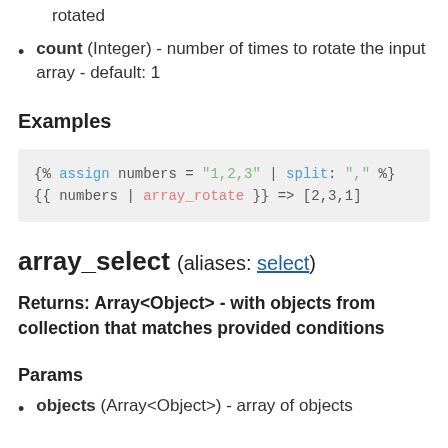rotated
count (Integer) - number of times to rotate the input array - default: 1
Examples
[Figure (screenshot): Code block showing: {% assign numbers = "1,2,3" | split: "," %} {{ numbers | array_rotate }} => [2,3,1]]
array_select (aliases: select)
Returns: Array<Object> - with objects from collection that matches provided conditions
Params
objects (Array<Object>) - array of objects